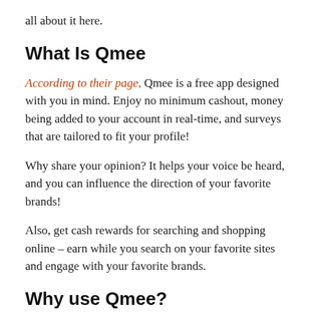all about it here.
What Is Qmee
According to their page, Qmee is a free app designed with you in mind. Enjoy no minimum cashout, money being added to your account in real-time, and surveys that are tailored to fit your profile!
Why share your opinion? It helps your voice be heard, and you can influence the direction of your favorite brands!
Also, get cash rewards for searching and shopping online – earn while you search on your favorite sites and engage with your favorite brands.
Why use Qmee?
Because half your opinion can only go so...